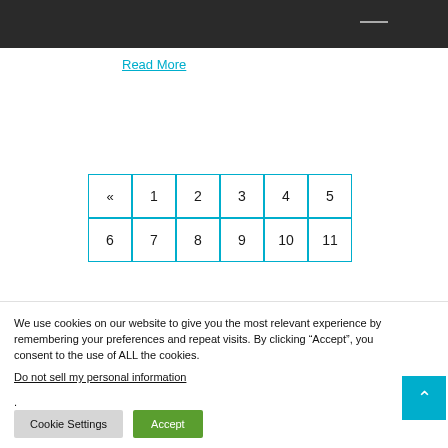Read More
[Figure (other): Pagination navigation widget showing rows of numbered page buttons: row 1: «, 1, 2, 3, 4, 5; row 2 (partial): 6, 7, 8, 9, 10, 11]
We use cookies on our website to give you the most relevant experience by remembering your preferences and repeat visits. By clicking “Accept”, you consent to the use of ALL the cookies.
Do not sell my personal information.
Cookie Settings
Accept